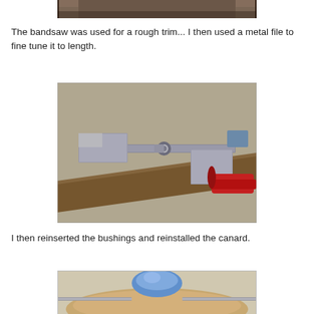[Figure (photo): Top portion of a photo showing a dark wooden/material surface, cropped at top of page]
The bandsaw was used for a rough trim... I then used a metal file to fine tune it to length.
[Figure (photo): Photo of metal hardware pieces including a cross-shaped metal bracket with a bushing/ring in the middle, laid out on a wooden surface. Red-handled pliers visible on the right side.]
I then reinserted the bushings and reinstalled the canard.
[Figure (photo): Bottom portion of a photo showing what appears to be a canard reinstalled, with blue and tan/wood colored parts visible, cropped at bottom of page]